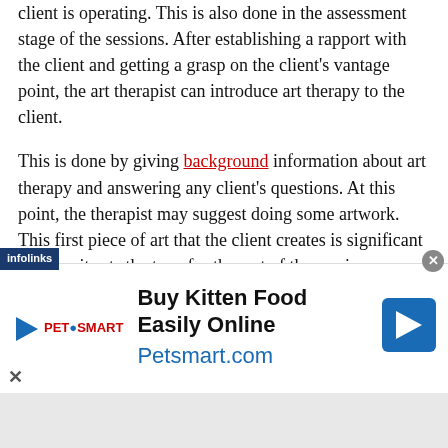therapist to better grasp the framework from which the client is operating. This is also done in the assessment stage of the sessions. After establishing a rapport with the client and getting a grasp on the client's vantage point, the art therapist can introduce art therapy to the client.
This is done by giving background information about art therapy and answering any client's questions. At this point, the therapist may suggest doing some artwork. This first piece of art that the client creates is significant because it sets the tone for the rest of the session. Because many people have art anxiety in these beginning sessions, the therapist must make the client feel comfortable. This could be done by telling the client that they should not worry about artistic accomplishment but rather self-expression. Another [important aspect of this first artwork is the reaction o...
[Figure (other): Advertisement banner for PetSmart featuring the text 'Buy Kitten Food Easily Online' and 'Petsmart.com' with PetSmart logo and a blue directional arrow icon. An infolinks badge is shown at the top left of the ad area.]